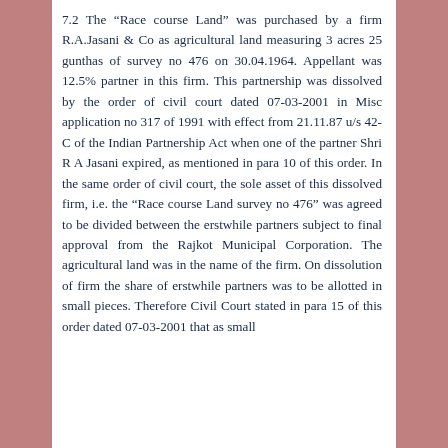7.2 The “Race course Land” was purchased by a firm R.A.Jasani & Co as agricultural land measuring 3 acres 25 gunthas of survey no 476 on 30.04.1964. Appellant was 12.5% partner in this firm. This partnership was dissolved by the order of civil court dated 07-03-2001 in Misc application no 317 of 1991 with effect from 21.11.87 u/s 42-C of the Indian Partnership Act when one of the partner Shri R A Jasani expired, as mentioned in para 10 of this order. In the same order of civil court, the sole asset of this dissolved firm, i.e. the “Race course Land survey no 476” was agreed to be divided between the erstwhile partners subject to final approval from the Rajkot Municipal Corporation. The agricultural land was in the name of the firm. On dissolution of firm the share of erstwhile partners was to be allotted in small pieces. Therefore Civil Court stated in para 15 of this order dated 07-03-2001 that as small